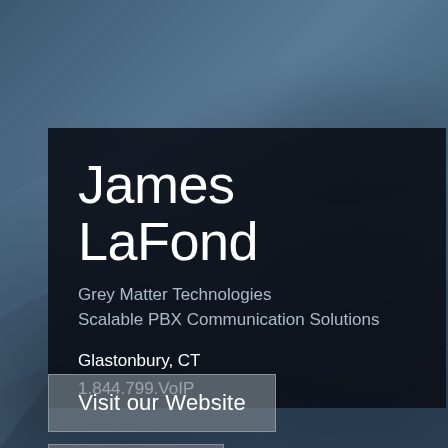[Figure (photo): Dark bluish-grey textured background resembling a draped fabric or metallic surface, serving as the background of a contact/profile card page.]
James LaFond
Grey Matter Technologies
Scalable PBX Communication Solutions
Glastonbury, CT
1.844.799.VoIP
Visit our Website